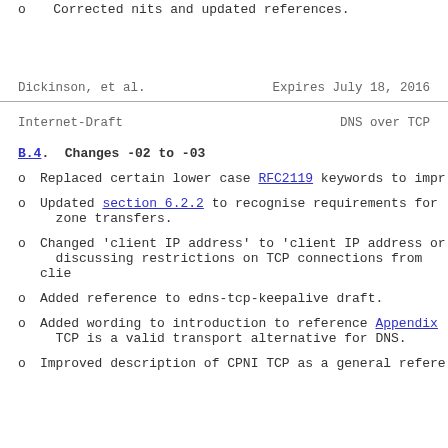o  Corrected nits and updated references.
Dickinson, et al.          Expires July 18, 2016
Internet-Draft                    DNS over TCP
B.4.  Changes -02 to -03
o  Replaced certain lower case RFC2119 keywords to impr...
o  Updated section 6.2.2 to recognise requirements for zone transfers.
o  Changed 'client IP address' to 'client IP address or...' discussing restrictions on TCP connections from clie...
o  Added reference to edns-tcp-keepalive draft.
o  Added wording to introduction to reference Appendix... TCP is a valid transport alternative for DNS.
o  Improved description of CPNI TCP as a general refere...